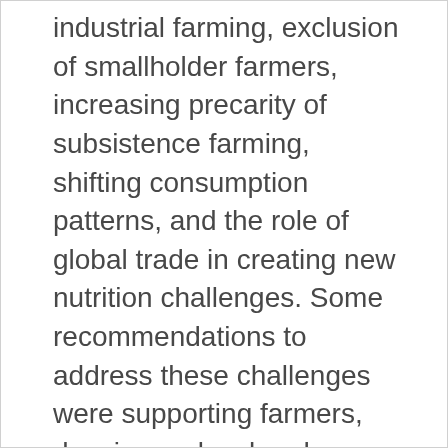industrial farming, exclusion of smallholder farmers, increasing precarity of subsistence farming, shifting consumption patterns, and the role of global trade in creating new nutrition challenges. Some recommendations to address these challenges were supporting farmers, drawing on local and traditional knowledge, and building collaborative networks.
In our increasingly connected world, we must find a way to bring together scientists and experts from different